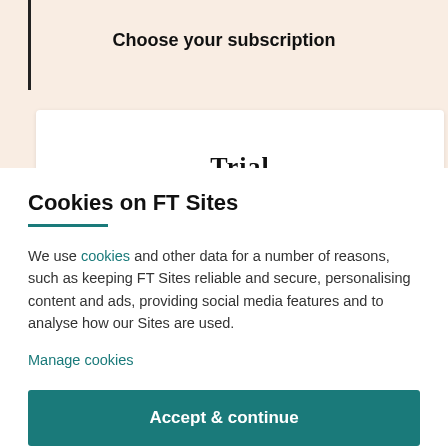Choose your subscription
Trial
Cookies on FT Sites
We use cookies and other data for a number of reasons, such as keeping FT Sites reliable and secure, personalising content and ads, providing social media features and to analyse how our Sites are used.
Manage cookies
Accept & continue